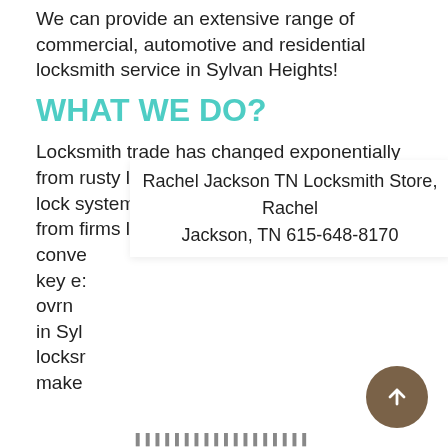We can provide an extensive range of commercial, automotive and residential locksmith service in Sylvan Heights!
WHAT WE DO?
Locksmith trade has changed exponentially from rusty lock days to highly sophisticated lock systems. This is why you need services from firms like Rachel Jackson TN Locksmith Store, Rachel Jackson, TN 615-648-8170 conve key e: ovrn in Syl locksr make
Rachel Jackson TN Locksmith Store, Rachel Jackson, TN 615-648-8170
Tak